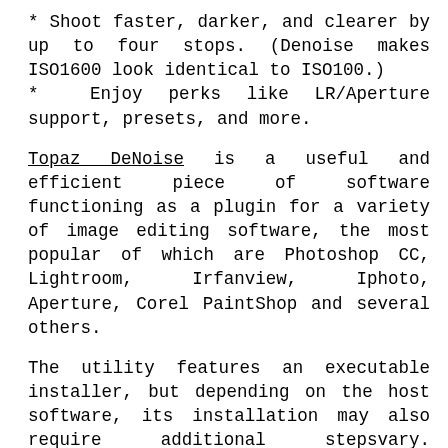* Shoot faster, darker, and clearer by up to four stops. (Denoise makes ISO1600 look identical to ISO100.)
* Enjoy perks like LR/Aperture support, presets, and more.
Topaz DeNoise is a useful and efficient piece of software functioning as a plugin for a variety of image editing software, the most popular of which are Photoshop CC, Lightroom, Irfanview, Iphoto, Aperture, Corel PaintShop and several others.
The utility features an executable installer, but depending on the host software, its installation may also require additional stepsvary. However, the help documentation provides step by step